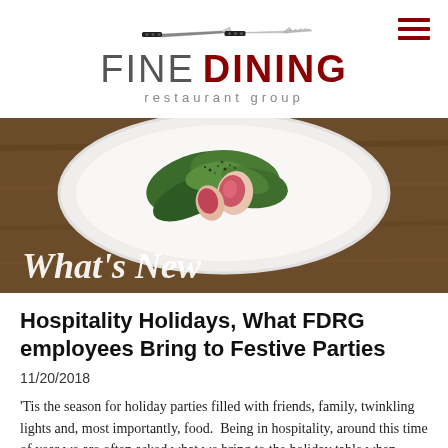[Figure (logo): Fine Dining Restaurant Group logo with knife graphic above text]
[Figure (photo): Hero photo of a gourmet salad plate with greens and radishes on a wooden table, overlaid with italic white text 'What's New']
Hospitality Holidays, What FDRG employees Bring to Festive Parties
11/20/2018
'Tis the season for holiday parties filled with friends, family, twinkling lights and, most importantly, food.  Being in hospitality, around this time of year we are often asked what we bring to the holiday table when we're dining with friends and family.  In